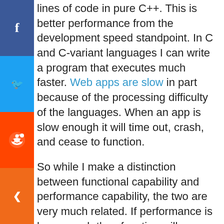lines of code in pure C++. This is better performance from the development speed standpoint. In C and C-variant languages I can write a program that executes much faster. Web apps are slow in part because of the processing difficulty of the languages. When an app is slow enough it will time out, crash, and cease to function.
So while I make a distinction between functional capability and performance capability, the two are very much related. If performance is low enough then function will cease. Let me be more clear:
HTML5 allows 3d rendering.
C-variants allow 3d rendering.
Regarding 3d rendering, I would